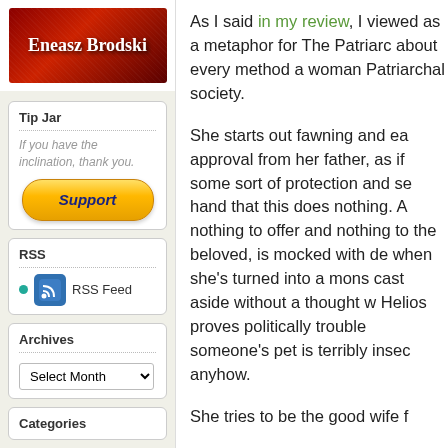[Figure (logo): Eneasz Brodski blog logo with dark red/crimson background and white bold text]
Tip Jar
If you have the inclination, thank you.
[Figure (other): PayPal Support button - orange/yellow gradient pill-shaped button with dark blue italic bold text 'Support']
RSS
[Figure (other): RSS feed icon - blue rounded square with white RSS symbol]
RSS Feed
Archives
Select Month dropdown
Categories
As I said in my review, I viewed as a metaphor for The Patriarc about every method a woman Patriarchal society.

She starts out fawning and ea approval from her father, as if some sort of protection and se hand that this does nothing. A nothing to offer and nothing to the beloved, is mocked with de when she's turned into a mons cast aside without a thought w Helios proves politically trouble someone's pet is terribly insec anyhow.

She tries to be the good wife f